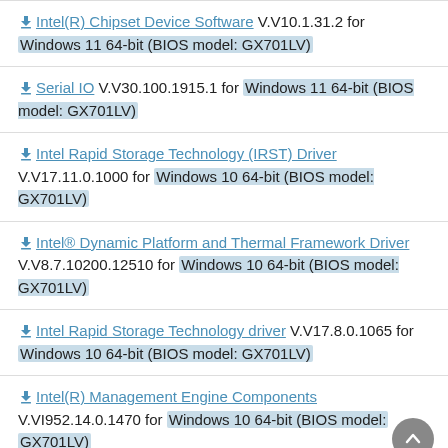Intel(R) Chipset Device Software V.V10.1.31.2 for Windows 11 64-bit (BIOS model: GX701LV)
Serial IO V.V30.100.1915.1 for Windows 11 64-bit (BIOS model: GX701LV)
Intel Rapid Storage Technology (IRST) Driver V.V17.11.0.1000 for Windows 10 64-bit (BIOS model: GX701LV)
Intel® Dynamic Platform and Thermal Framework Driver V.V8.7.10200.12510 for Windows 10 64-bit (BIOS model: GX701LV)
Intel Rapid Storage Technology driver V.V17.8.0.1065 for Windows 10 64-bit (BIOS model: GX701LV)
Intel(R) Management Engine Components V.VI952.14.0.1470 for Windows 10 64-bit (BIOS model: GX701LV)